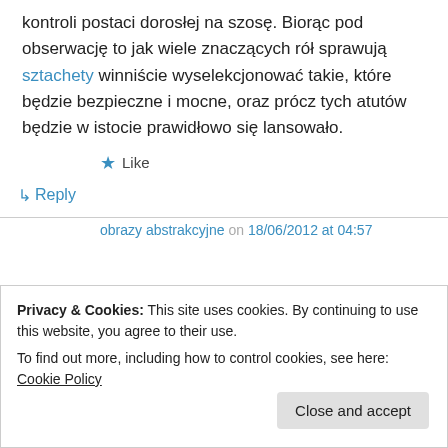kontroli postaci dorosłej na szosę. Biorąc pod obserwację to jak wiele znaczących rół sprawują sztachety winniście wyselekcjonować takie, które będzie bezpieczne i mocne, oraz prócz tych atutów będzie w istocie prawidłowo się lansowało.
★ Like
↳ Reply
obrazy abstrakcyjne on 18/06/2012 at 04:57
Privacy & Cookies: This site uses cookies. By continuing to use this website, you agree to their use.
To find out more, including how to control cookies, see here: Cookie Policy
Close and accept